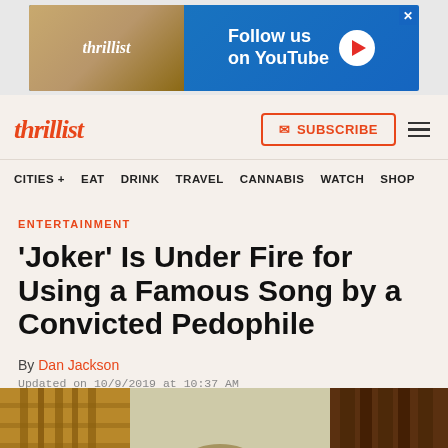[Figure (screenshot): Thrillist YouTube advertisement banner with blue background showing 'Follow us on YouTube' text and a play button]
thrillist  SUBSCRIBE  ≡
CITIES +  EAT  DRINK  TRAVEL  CANNABIS  WATCH  SHOP
ENTERTAINMENT
'Joker' Is Under Fire for Using a Famous Song by a Convicted Pedophile
By Dan Jackson
Updated on 10/9/2019 at 10:37 AM
[Figure (photo): Bottom of page showing a partial photo from the Joker movie with golden/warm toned imagery]